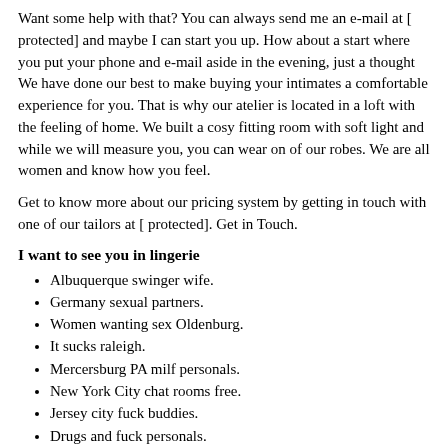Want some help with that? You can always send me an e-mail at [ protected] and maybe I can start you up. How about a start where you put your phone and e-mail aside in the evening, just a thought We have done our best to make buying your intimates a comfortable experience for you. That is why our atelier is located in a loft with the feeling of home. We built a cosy fitting room with soft light and while we will measure you, you can wear on of our robes. We are all women and know how you feel.
Get to know more about our pricing system by getting in touch with one of our tailors at [ protected]. Get in Touch.
I want to see you in lingerie
Albuquerque swinger wife.
Germany sexual partners.
Women wanting sex Oldenburg.
It sucks raleigh.
Mercersburg PA milf personals.
New York City chat rooms free.
Jersey city fuck buddies.
Drugs and fuck personals.
Sex personals Scott City.
Text girls for sex in Phoenix Arizona.
Women to fuck in Fairbanks.
Chat with locals to Middle Connecticut.